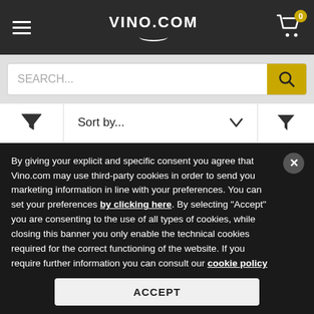VINO.COM
SEARCH...
Sort by...
6  ↓  ADD TO CART
Lazio IGT Shiraz 2021 Casale del Giglio
By giving your explicit and specific consent you agree that Vino.com may use third-party cookies in order to send you marketing information in line with your preferences. You can set your preferences by clicking here. By selecting "Accept" you are consenting to the use of all types of cookies, while closing this banner you only enable the technical cookies required for the correct functioning of the website. If you require further information you can consult our cookie policy
ACCEPT